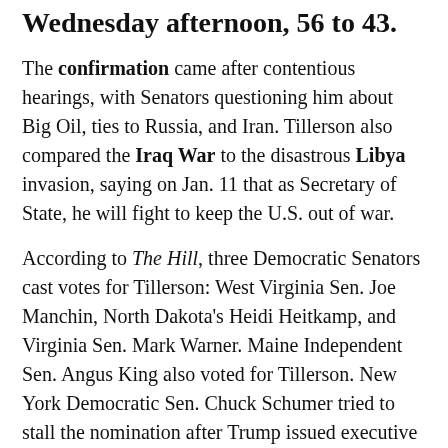Wednesday afternoon, 56 to 43.
The confirmation came after contentious hearings, with Senators questioning him about Big Oil, ties to Russia, and Iran. Tillerson also compared the Iraq War to the disastrous Libya invasion, saying on Jan. 11 that as Secretary of State, he will fight to keep the U.S. out of war.
According to The Hill, three Democratic Senators cast votes for Tillerson: West Virginia Sen. Joe Manchin, North Dakota’s Heidi Heitkamp, and Virginia Sen. Mark Warner. Maine Independent Sen. Angus King also voted for Tillerson. New York Democratic Sen. Chuck Schumer tried to stall the nomination after Trump issued executive orders freezing refugee resettlement (refugee: a person who has been forced to leave their country in order to